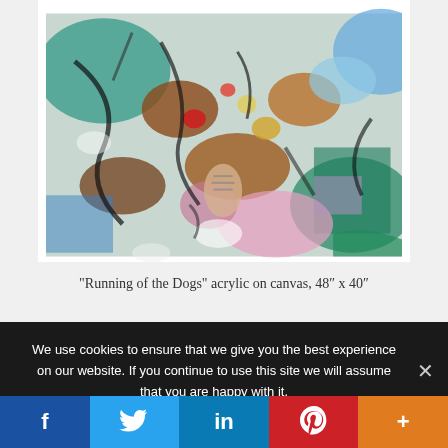[Figure (illustration): Colorful abstract expressionist painting with multiple dogs and figures in motion, rendered in acrylics with vivid reds, teals, browns, blues, pinks and greens.]
“Running of the Dogs” acrylic on canvas, 48″ x 40″
We use cookies to ensure that we give you the best experience on our website. If you continue to use this site we will assume that you are happy with it.
Facebook | Twitter | LinkedIn | Pinterest | More